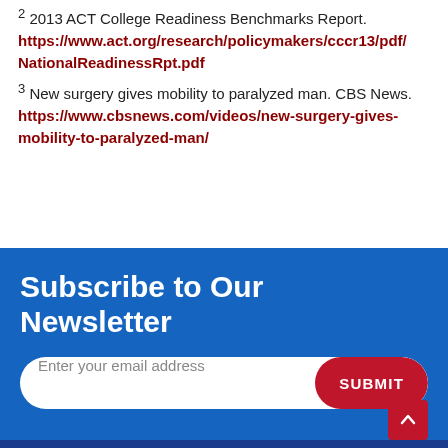2 2013 ACT College Readiness Benchmarks Report. https://www.act.org/research/policymakers/cccr13/pdf/NationalReadinessRpt.pdf
3 New surgery gives mobility to paralyzed man. CBS News. https://www.cbsnews.com/videos/new-surgery-gives-mobility-to-paralyzed-man/
Subscribe to Our Newsletter
Enter your email address SUBMIT